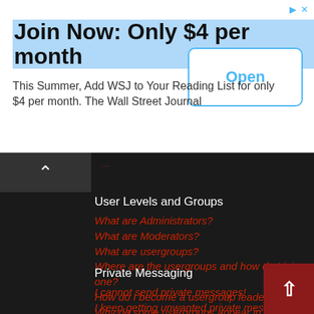[Figure (screenshot): WSJ advertisement banner: 'Join Now: Only $4 per month' with 'Open' button]
Join Now: Only $4 per month
This Summer, Add WSJ to Your Reading List for only $4 per month. The Wall Street Journal
User Levels and Groups
What are Administrators?
What are Moderators?
What are usergroups?
Where are the usergroups and how do I join one?
How do I become a usergroup leader?
Why do some usergroups appear in a different color?
What is a "Default usergroup"?
What is "The team" link?
Private Messaging
I cannot send private messages!
I keep getting unwanted private messages!
I have received a spamming or abusive email from someone on this board!